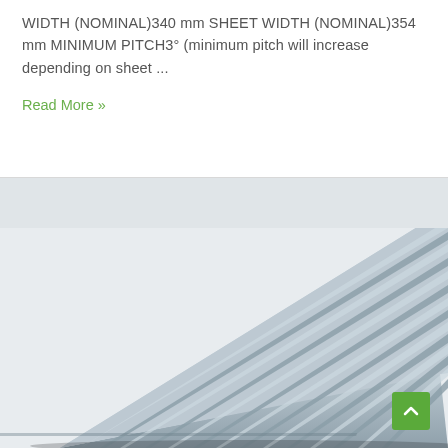WIDTH (NOMINAL)340 mm SHEET WIDTH (NOMINAL)354 mm MINIMUM PITCH3° (minimum pitch will increase depending on sheet ...
Read More »
[Figure (photo): Close-up photograph of corrugated metal roofing sheets in grey/blue-grey color, shown at an angle to display the ribbed profile pattern of the sheets.]